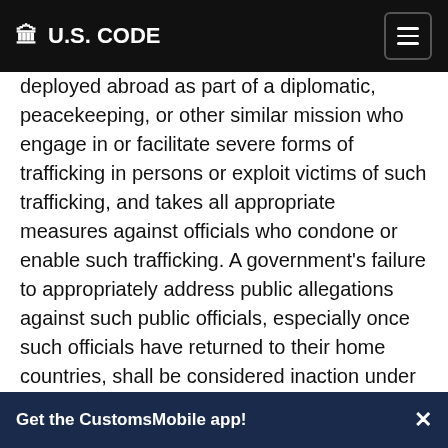🏛 U.S. CODE
deployed abroad as part of a diplomatic, peacekeeping, or other similar mission who engage in or facilitate severe forms of trafficking in persons or exploit victims of such trafficking, and takes all appropriate measures against officials who condone or enable such trafficking. A government's failure to appropriately address public allegations against such public officials, especially once such officials have returned to their home countries, shall be considered inaction under these criteria. After reasonable requests from the Department of State for data regarding such investigations, prosecutions, convictions, and sentences, a government which does not provide such data, consistent with a demonstrably increasing capacity of such government to obtain such data, shall be presumed
Get the CustomsMobile app!